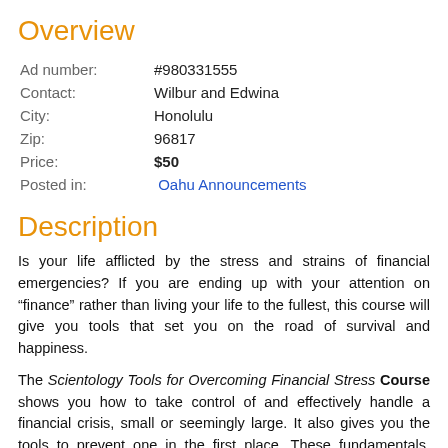Overview
| Ad number: | #980331555 |
| Contact: | Wilbur and Edwina |
| City: | Honolulu |
| Zip: | 96817 |
| Price: | $50 |
| Posted in: | Oahu Announcements |
Description
Is your life afflicted by the stress and strains of financial emergencies? If you are ending up with your attention on “finance” rather than living your life to the fullest, this course will give you tools that set you on the road of survival and happiness.
The Scientology Tools for Overcoming Financial Stress Course shows you how to take control of and effectively handle a financial crisis, small or seemingly large. It also gives you the tools to prevent one in the first place. These fundamentals, taken from experience in organizations, govern finance for any establishment of any size and are applicable to personal finance as well.